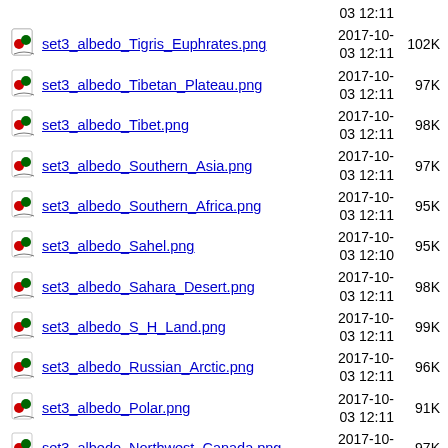(partial top) 03 12:11
set3_albedo_Tigris_Euphrates.png  2017-10-03 12:11  102K
set3_albedo_Tibetan_Plateau.png  2017-10-03 12:11  97K
set3_albedo_Tibet.png  2017-10-03 12:11  98K
set3_albedo_Southern_Asia.png  2017-10-03 12:11  97K
set3_albedo_Southern_Africa.png  2017-10-03 12:11  95K
set3_albedo_Sahel.png  2017-10-03 12:10  95K
set3_albedo_Sahara_Desert.png  2017-10-03 12:11  98K
set3_albedo_S_H_Land.png  2017-10-03 12:11  99K
set3_albedo_Russian_Arctic.png  2017-10-03 12:11  96K
set3_albedo_Polar.png  2017-10-03 12:11  91K
set3_albedo_Northwest_Canada.png  2017-10-03 12:11  97K